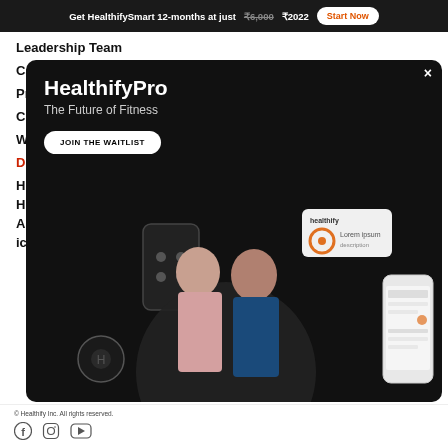Get HealthifySmart 12-months at just ₹6,000 ₹2022  Start Now
Leadership Team
Careers
Privacy Policy
[Figure (screenshot): HealthifyPro modal advertisement on black background. Title: 'HealthifyPro — The Future of Fitness'. Button: 'JOIN THE WAITLIST'. Images of smart scale, earbuds, phone app, two people (woman in pink, man in blue shirt), and a health app widget with orange circle icon. Close button (×) in top right.]
© Healthify Inc. All rights reserved. Social media icons: Facebook, Instagram, YouTube